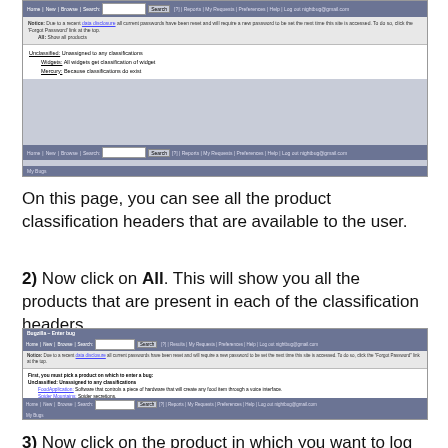[Figure (screenshot): Bugzilla browser screenshot showing product classification headers: Unclassified, Widgets, Mercury with sub-items and navigation bar]
On this page, you can see all the product classification headers that are available to the user.
2) Now click on All. This will show you all the products that are present in each of the classification headers.
[Figure (screenshot): Bugzilla Enter bug page showing product list with Unclassified, Widgets, and Mercury classification headers and associated products]
3) Now click on the product in which you want to log a